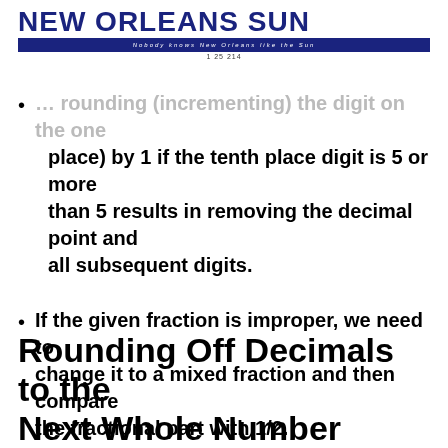NEW ORLEANS SUN — Nobody knows New Orleans like the Sun — 1 25 214
… rounding (incrementing) the digit on the ones place) by 1 if the tenth place digit is 5 or more than 5 results in removing the decimal point and all subsequent digits.
If the given fraction is improper, we need to change it to a mixed fraction and then compare the fractional part with 1/2.
Rounding Off Decimals to the Next Whole Number